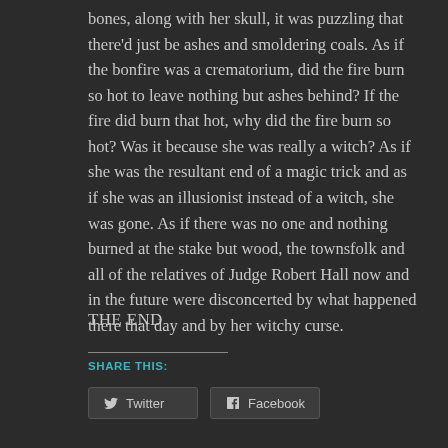bones, along with her skull, it was puzzling that there'd just be ashes and smoldering coals. As if the bonfire was a crematorium, did the fire burn so hot to leave nothing but ashes behind? If the fire did burn that hot, why did the fire burn so hot? Was it because she was really a witch? As if she was the resultant end of a magic trick and as if she was an illusionist instead of a witch, she was gone. As if there was no one and nothing burned at the stake but wood, the townsfolk and all of the relatives of Judge Robert Hall now and in the future were disconcerted by what happened there that day and by her witchy curse.
THE END
SHARE THIS: